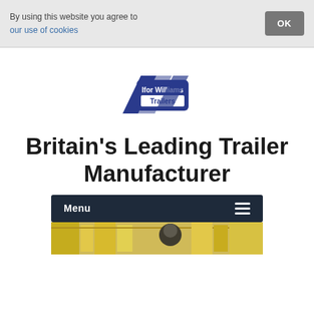By using this website you agree to our use of cookies
OK
[Figure (logo): Ifor Williams Trailers logo — blue parallelogram shapes with white text reading 'Ifor Williams' and 'Trailers']
Britain's Leading Trailer Manufacturer
Menu ☰
[Figure (photo): Partial photo of a manufacturing facility interior showing yellow equipment and a worker in protective gear]